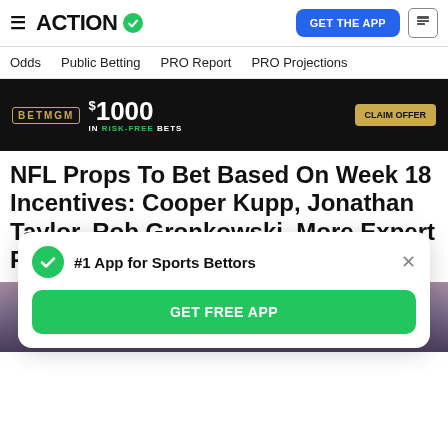ACTION #1 App for Sports Bettors | GET THE APP
Odds | Public Betting | PRO Report | PRO Projections
[Figure (photo): BetMGM advertisement banner: $1000 IN RISK-FREE BETS with CLAIM OFFER button]
NFL Props To Bet Based On Week 18 Incentives: Cooper Kupp, Jonathan Taylor, Rob Gronkowski, More Expert Picks
[Figure (photo): Photo of an NFL player wearing a Los Angeles Rams helmet]
#1 App for Sports Bettors
GET FREE APP